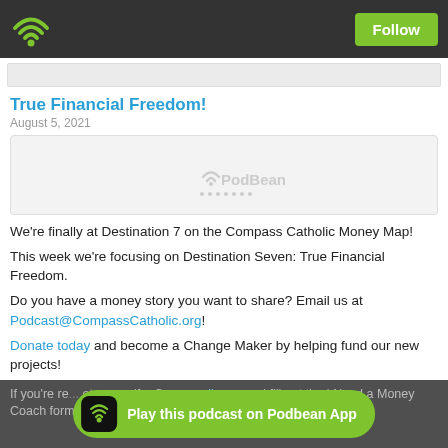Follow
True Financial Freedom!
August 5, 2021
[Figure (other): PodBean podcast player placeholder with PodBean logo and loading dots]
We're finally at Destination 7 on the Compass Catholic Money Map!
This week we're focusing on Destination Seven: True Financial Freedom.
Do you have a money story you want to share? Email us at Podcast@CompassCatholic.org!
Donate today and become a Change Maker by helping fund our new projects!
If you're re... et yourself a Compass... lic.org and fill out the | Need a Money Coach form. Money is about
[Figure (other): Play this podcast on Podbean App button banner]